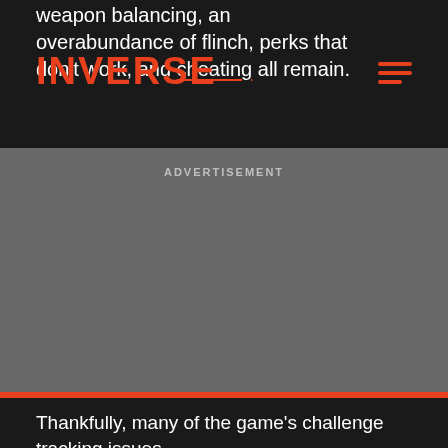INVERSE
weapon balancing, an overabundance of flinch, perks that don't work, and cheating all remain.
ADVERTISEMENT
Thankfully, many of the game's challenge tracking issues